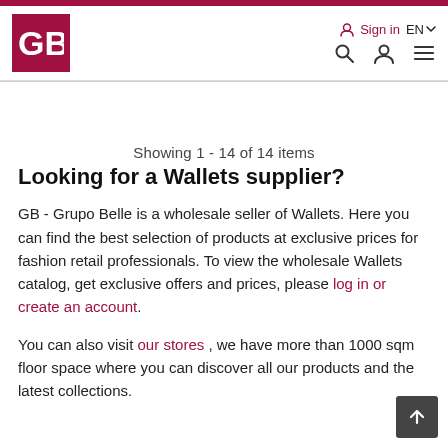GB - Grupo Belle navigation header with logo, Sign in, EN language selector, search, account, and menu icons
Showing 1 - 14 of 14 items
Looking for a Wallets supplier?
GB - Grupo Belle is a wholesale seller of Wallets. Here you can find the best selection of products at exclusive prices for fashion retail professionals. To view the wholesale Wallets catalog, get exclusive offers and prices, please log in or create an account.
You can also visit our stores , we have more than 1000 sqm floor space where you can discover all our products and the latest collections.